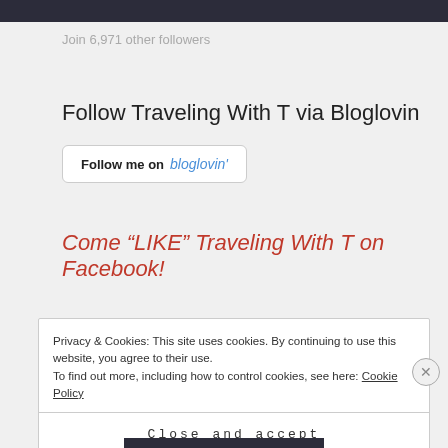Join 6,971 other followers
Follow Traveling With T via Bloglovin
[Figure (screenshot): Follow me on Bloglovin button with rounded border]
Come “LIKE” Traveling With T on Facebook!
Privacy & Cookies: This site uses cookies. By continuing to use this website, you agree to their use. To find out more, including how to control cookies, see here: Cookie Policy
Close and accept